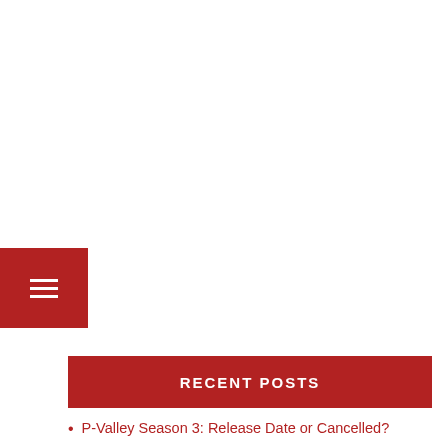[Figure (other): Red hamburger menu button in top-left area]
RECENT POSTS
P-Valley Season 3: Release Date or Cancelled?
Best Netflix Web Series To Binge Watch Now !!!
All The Upcoming Projects Of Elon Musk Is Here!!!